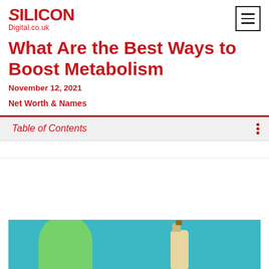Silicon Digital.co.uk
What Are the Best Ways to Boost Metabolism
November 12, 2021
Net Worth & Names
Table of Contents
[Figure (photo): Teal background with green pill/capsule shapes and a small glass bottle with cork stopper]